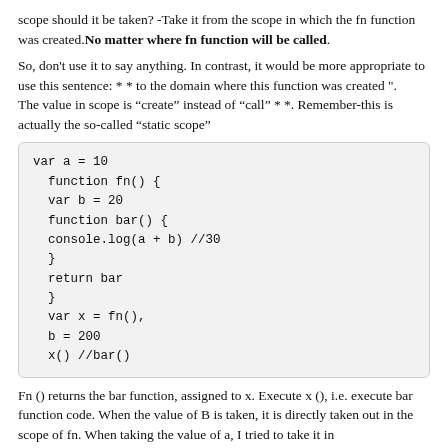scope should it be taken? -Take it from the scope in which the fn function was created.No matter where fn function will be called.
So, don't use it to say anything. In contrast, it would be more appropriate to use this sentence: * * to the domain where this function was created ". The value in scope is "create" instead of "call" * *. Remember-this is actually the so-called "static scope"
[Figure (other): Code block showing JavaScript closure example with var a=10, function fn(), var b=20, function bar(), console.log(a+b)//30, return bar, var x=fn(), b=200, x()//bar()]
Fn () returns the bar function, assigned to x. Execute x (), i.e. execute bar function code. When the value of B is taken, it is directly taken out in the scope of fn. When taking the value of a, I tried to take it in